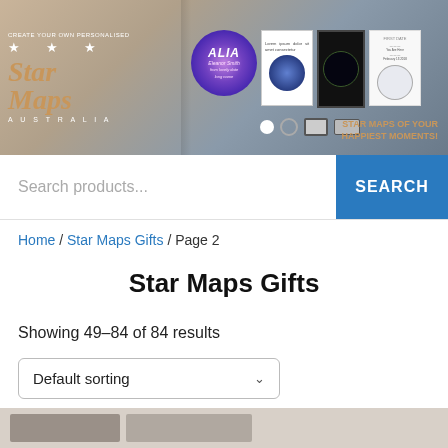[Figure (photo): Banner image for a Star Maps Australia website showing personalised star map products including circular purple galaxy prints, framed star constellation prints, and white poster prints. Text reads 'Create Your Own Personalised Star Maps Australia' and 'Star Maps of Your Happiest Moments!']
Search products...
SEARCH
Home / Star Maps Gifts / Page 2
Star Maps Gifts
Showing 49–84 of 84 results
Default sorting
[Figure (photo): Partially visible product thumbnail images at the bottom of the page]